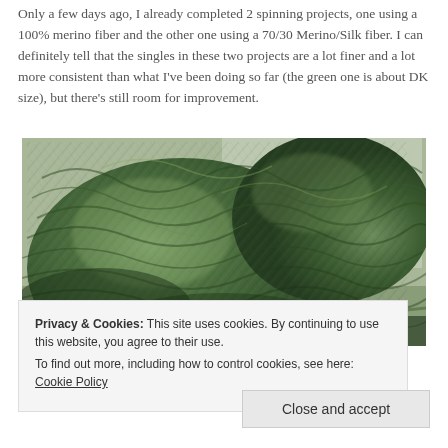Only a few days ago, I already completed 2 spinning projects, one using a 100% merino fiber and the other one using a 70/30 Merino/Silk fiber. I can definitely tell that the singles in these two projects are a lot finer and a lot more consistent than what I've been doing so far (the green one is about DK size), but there's still room for improvement.
[Figure (photo): Close-up photo of skeins of handspun green yarn, showing twisted plied yarn with variegated dark and medium green tones, with a soft woolly texture visible.]
Privacy & Cookies: This site uses cookies. By continuing to use this website, you agree to their use.
To find out more, including how to control cookies, see here: Cookie Policy